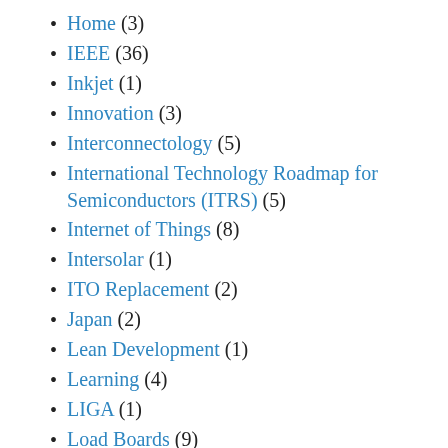Home (3)
IEEE (36)
Inkjet (1)
Innovation (3)
Interconnectology (5)
International Technology Roadmap for Semiconductors (ITRS) (5)
Internet of Things (8)
Intersolar (1)
ITO Replacement (2)
Japan (2)
Lean Development (1)
Learning (4)
LIGA (1)
Load Boards (9)
Management (13)